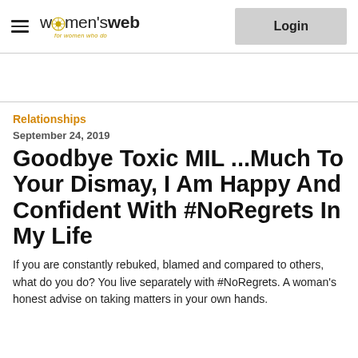women's web — Login
Relationships
September 24, 2019
Goodbye Toxic MIL ...Much To Your Dismay, I Am Happy And Confident With #NoRegrets In My Life
If you are constantly rebuked, blamed and compared to others, what do you do? You live separately with #NoRegrets. A woman's honest advise on taking matters in your own hands.